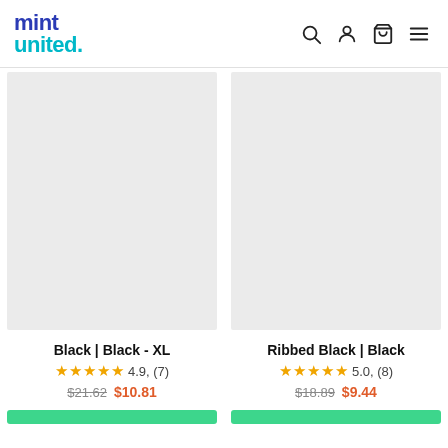mint united. [header with search, account, cart, menu icons]
[Figure (photo): Product image placeholder - light grey rectangle, left product]
Black | Black - XL
4.9, (7)
$21.62 $10.81
[Figure (photo): Product image placeholder - light grey rectangle, right product]
Ribbed Black | Black
5.0, (8)
$18.89 $9.44